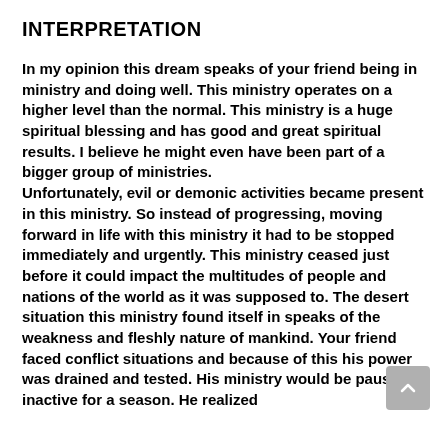INTERPRETATION
In my opinion this dream speaks of your friend being in ministry and doing well. This ministry operates on a higher level than the normal. This ministry is a huge spiritual blessing and has good and great spiritual results. I believe he might even have been part of a bigger group of ministries.
Unfortunately, evil or demonic activities became present in this ministry. So instead of progressing, moving forward in life with this ministry it had to be stopped immediately and urgently. This ministry ceased just before it could impact the multitudes of people and nations of the world as it was supposed to. The desert situation this ministry found itself in speaks of the weakness and fleshly nature of mankind. Your friend faced conflict situations and because of this his power was drained and tested. His ministry would be paused, inactive for a season. He realized